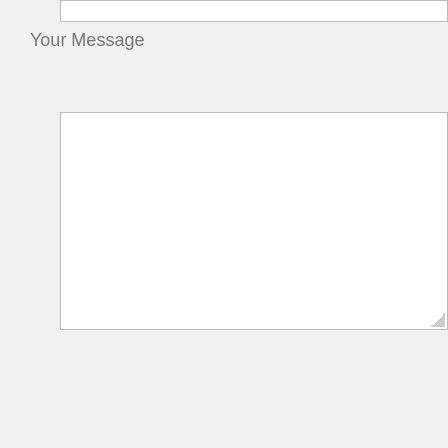[Figure (screenshot): Top input field (text box, empty)]
Your Message
[Figure (screenshot): Large empty textarea for message input with resize handle]
[Figure (screenshot): Send button]
[Figure (screenshot): Star rating widget showing 4 out of 5 stars with info icon and Rate this (4 Votes) button]
[Figure (screenshot): Social sharing row with Tweet link, Share button (red), and share count of 5]